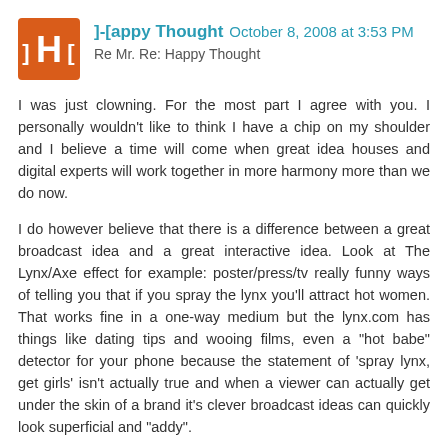]-[appy Thought  October 8, 2008 at 3:53 PM
Re Mr. Re: Happy Thought
I was just clowning. For the most part I agree with you. I personally wouldn't like to think I have a chip on my shoulder and I believe a time will come when great idea houses and digital experts will work together in more harmony more than we do now.
I do however believe that there is a difference between a great broadcast idea and a great interactive idea. Look at The Lynx/Axe effect for example: poster/press/tv really funny ways of telling you that if you spray the lynx you'll attract hot women. That works fine in a one-way medium but the lynx.com has things like dating tips and wooing films, even a "hot babe" detector for your phone because the statement of 'spray lynx, get girls' isn't actually true and when a viewer can actually get under the skin of a brand it's clever broadcast ideas can quickly look superficial and "addy".
We are also competing with a generation that is now used